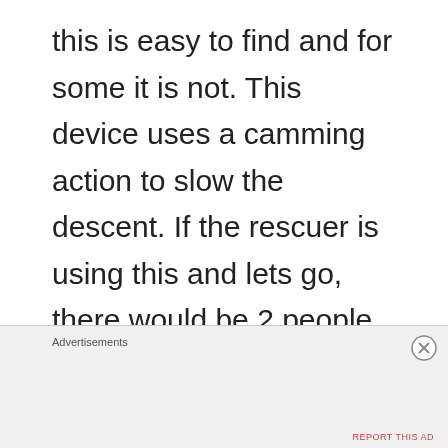this is easy to find and for some it is not. This device uses a camming action to slow the descent. If the rescuer is using this and lets go, there would be 2 people hanging on the rope not in a pile on the ground. After numerous uses I started liking it more, and I really like the fact
Advertisements